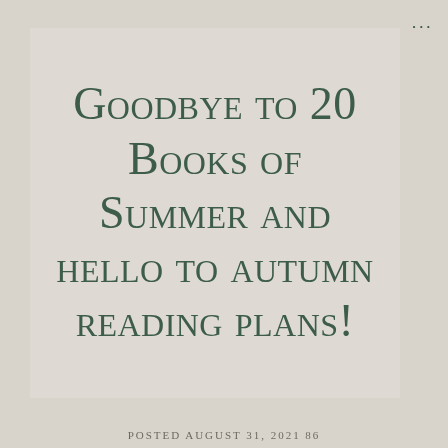Goodbye to 20 Books of Summer and hello to autumn reading plans!
POSTED AUGUST 31, 2021 86